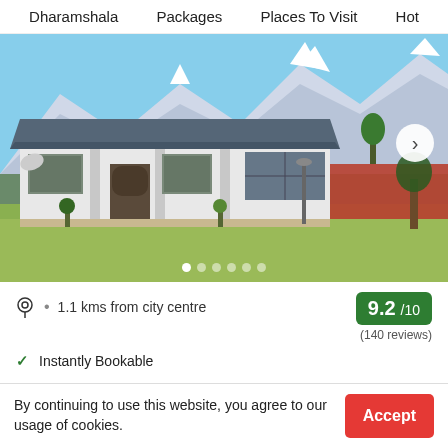Dharamshala   Packages   Places To Visit   Hot
[Figure (photo): Photo of a house/apartment with snow-capped mountains in the background, green lawn in front, blue sky. Navigation arrow button on the right. Carousel dots at the bottom.]
1.1 kms from city centre
9.2 /10
(140 reviews)
Instantly Bookable
Get Entire home/apt in a apartment
By continuing to use this website, you agree to our usage of cookies.